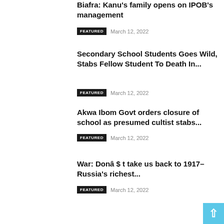Biafra: Kanu’s family opens on IPOB’s management
FEATURED   March 12, 2022
Secondary School Students Goes Wild, Stabs Fellow Student To Death In...
FEATURED   March 12, 2022
Akwa Ibom Govt orders closure of school as presumed cultist stabs...
FEATURED   March 12, 2022
War: Donâ $ t take us back to 1917– Russia’s richest...
FEATURED   March 12, 2022